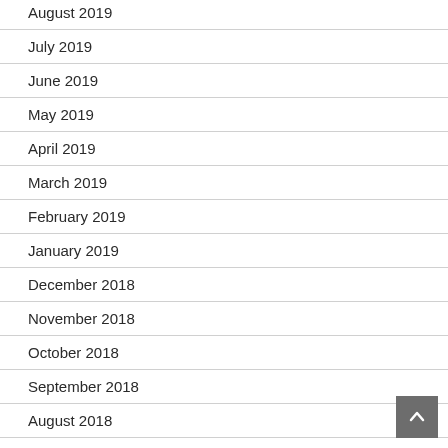August 2019
July 2019
June 2019
May 2019
April 2019
March 2019
February 2019
January 2019
December 2018
November 2018
October 2018
September 2018
August 2018
July 2018